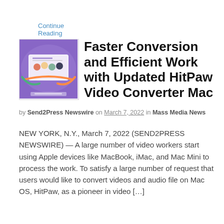Continue Reading
[Figure (illustration): Thumbnail image showing an HitPaw promotional graphic with people around a screen and the text 'Exciting New Release']
Faster Conversion and Efficient Work with Updated HitPaw Video Converter Mac
by Send2Press Newswire on March 7, 2022 in Mass Media News
NEW YORK, N.Y., March 7, 2022 (SEND2PRESS NEWSWIRE) — A large number of video workers start using Apple devices like MacBook, iMac, and Mac Mini to process the work. To satisfy a large number of request that users would like to convert videos and audio file on Mac OS, HitPaw, as a pioneer in video […]
Continue Reading